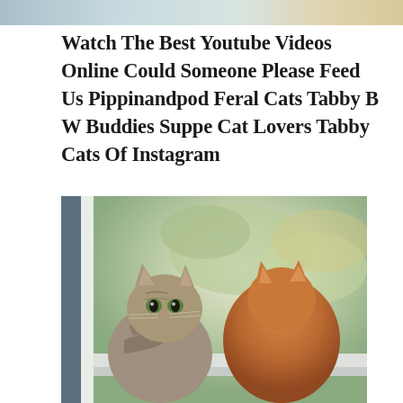[Figure (photo): Partial view of a cat photo at the very top of the page, cropped — showing the top portion of what appears to be a cat image with a blurred background.]
Watch The Best Youtube Videos Online Could Someone Please Feed Us Pippinandpod Feral Cats Tabby B W Buddies Suppe Cat Lovers Tabby Cats Of Instagram
[Figure (photo): Two cats sitting by a window looking outside. On the left is a tabby cat facing the camera with green eyes, and on the right is an orange/ginger cat with its back to the camera, both sitting on a windowsill with blurred green foliage visible through the window.]